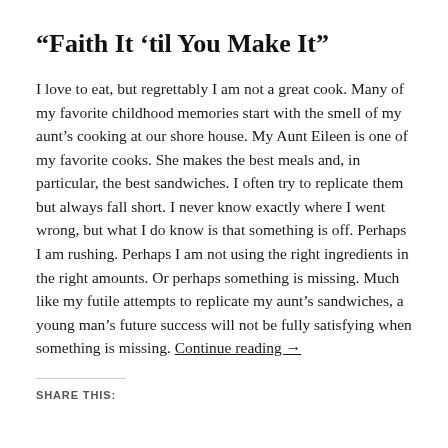“Faith It ‘til You Make It”
I love to eat, but regrettably I am not a great cook. Many of my favorite childhood memories start with the smell of my aunt’s cooking at our shore house. My Aunt Eileen is one of my favorite cooks. She makes the best meals and, in particular, the best sandwiches. I often try to replicate them but always fall short. I never know exactly where I went wrong, but what I do know is that something is off. Perhaps I am rushing. Perhaps I am not using the right ingredients in the right amounts. Or perhaps something is missing. Much like my futile attempts to replicate my aunt’s sandwiches, a young man’s future success will not be fully satisfying when something is missing. Continue reading →
SHARE THIS: